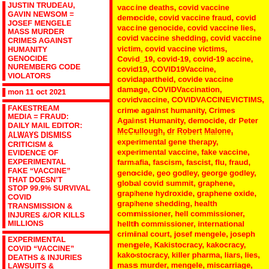JUSTIN TRUDEAU, GAVIN NEWSOM = JOSEF MENGELE MASS MURDER CRIMES AGAINST HUMANITY GENOCIDE NUREMBERG CODE VIOLATORS
mon 11 oct 2021
FAKESTREAM MEDIA = FRAUD: DAILY MAIL EDITOR: ALWAYS DISMISS CRITICISM & EVIDENCE of EXPERIMENTAL FAKE “VACCINE” THAT DOESN’T STOP 99.9% survival covid TRANSMISSION & INJURES &/or KILLS MILLIONS
EXPERIMENTAL COVID “VACCINE” DEATHS & INJURIES LAWSUITS & EVIDENCE thu 7 oct 2021
vaccine deaths, covid vaccine democide, covid vaccine fraud, covid vaccine genocide, covid vaccine lies, covid vaccine shedding, covid vaccine victim, covid vaccine victims, Covid_19, covid-19, covid-19 accine, covid19, COVID19Vaccine, covidapartheid, covide vaccine damage, COVIDVaccination, covidvaccine, COVIDVACCINEVICTIMS, crime against humanity, Crimes Against Humanity, democide, dr Peter McCullough, dr Robert Malone, experimental gene therapy, experimental vaccine, fake vaccine, farmafia, fascism, fascist, flu, fraud, genocide, geo godley, george godley, global covid summit, graphene, graphene hydroxide, graphene oxide, graphene shedding, health commissioner, hell commissioner, hellth commissioner, international criminal court, josef mengele, joseph mengele, Kakistocracy, kakocracy, kakostocracy, killer pharma, liars, lies, mass murder, mengele, miscarriage, moderna, mrna, mrna injection, mrna vaccine, murder, murderer, peter mccullough, pfizer, pfuck pfizer, pharmafia, plandemic, rebranded flu,